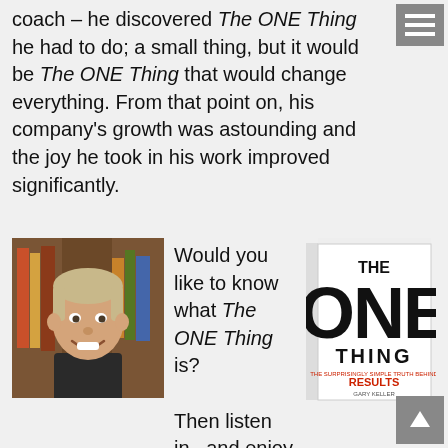coach – he discovered The ONE Thing he had to do; a small thing, but it would be The ONE Thing that would change everything. From that point on, his company's growth was astounding and the joy he took in his work improved significantly.
[Figure (photo): Headshot of a middle-aged man with gray-blond hair, smiling, wearing a black shirt, with bookshelves in the background]
Would you like to know what The ONE Thing is?

Then listen in...and enjoy this chat with Gary Keller.
[Figure (photo): Book cover of 'The ONE Thing' with large bold letters ONE on white background]